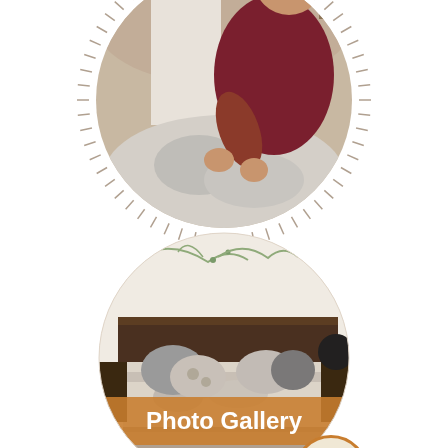[Figure (photo): Circular cropped photo of a person in a dark red polo shirt making a bed with floral/toile bedding, with tick-mark border decoration around the circle. Only the bottom portion of the circle is visible (top is cut off).]
[Figure (photo): Circular cropped photo of a neatly made bed with floral pillows and bedding in a bedroom with wall art. An amber/orange banner overlay reads 'Photo Gallery' in white text. A small cream-colored circular button with orange border reads 'View'.]